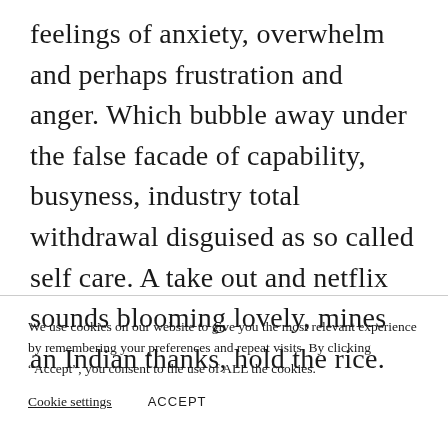feelings of anxiety, overwhelm and perhaps frustration and anger. Which bubble away under the false facade of capability, busyness, industry total withdrawal disguised as so called self care. A take out and netflix sounds blooming lovely, mines an Indian thanks, hold the rice.
We use cookies on our website to give you the most relevant experience by remembering your preferences and repeat visits. By clicking “Accept”, you consent to the use of ALL the cookies.
Cookie settings   ACCEPT